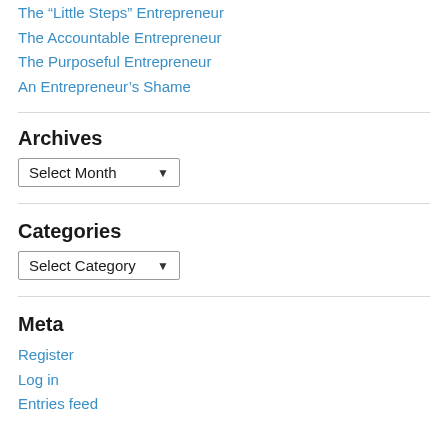The “Little Steps” Entrepreneur
The Accountable Entrepreneur
The Purposeful Entrepreneur
An Entrepreneur’s Shame
Archives
Select Month [dropdown]
Categories
Select Category [dropdown]
Meta
Register
Log in
Entries feed